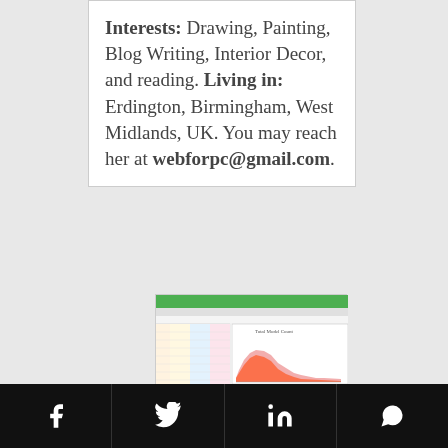Interests: Drawing, Painting, Blog Writing, Interior Decor, and Reading. Living in: Erdington, Birmingham, West Midlands, UK. You may reach her at webforpc@gmail.com.
[Figure (screenshot): Screenshot of a spreadsheet application showing data tables and two charts: 'Total Model Count' (area/bar chart with orange/red areas) and 'Covid/Other/Illness Cause Count' (line chart). The spreadsheet has colored columns on the left and the charts on the right.]
Social media icons: Facebook, Twitter, LinkedIn, WhatsApp